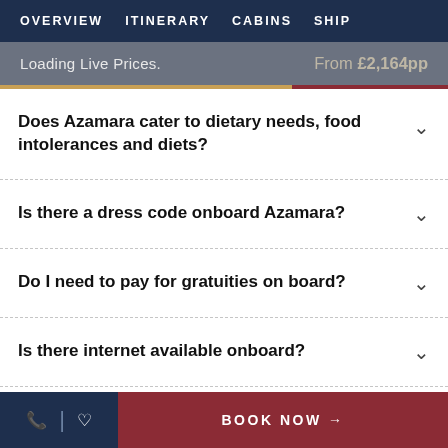OVERVIEW  ITINERARY  CABINS  SHIP
Loading Live Prices.  From £2,164pp
Does Azamara cater to dietary needs, food intolerances and diets?
Is there a dress code onboard Azamara?
Do I need to pay for gratuities on board?
Is there internet available onboard?
BOOK NOW →